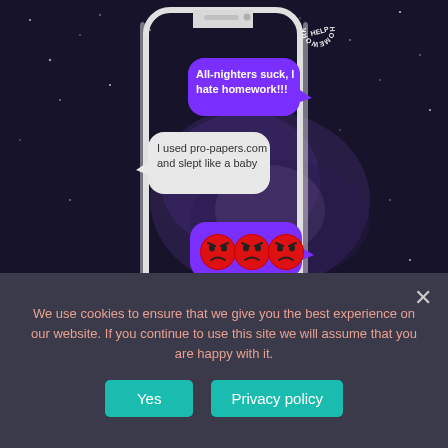[Figure (illustration): A smartphone with a space/galaxy background showing a text message conversation. Right bubble: 'All-nighters suck, I hate homework!!!' Left bubble: 'I used pro-papers.com and slept like a baby' Right bubble: three angry red face emojis Left bubble: 'I'll send you their 15% discount'. A circular logo with 'HOMEWORK HELP' text is visible top right of the phone. The phone is a modern frameless smartphone mockup.]
We use cookies to ensure that we give you the best experience on our website. If you continue to use this site we will assume that you are happy with it.